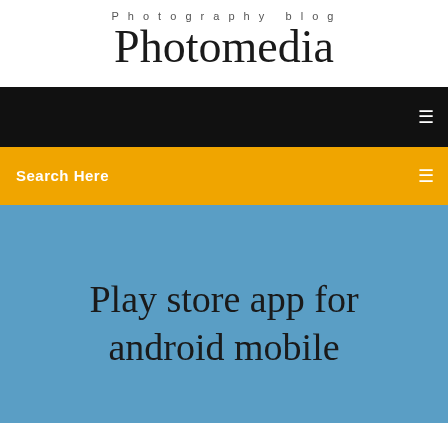Photography blog
Photomedia
[Figure (screenshot): Black navigation bar with white menu icon on the right]
Search Here
Play store app for android mobile